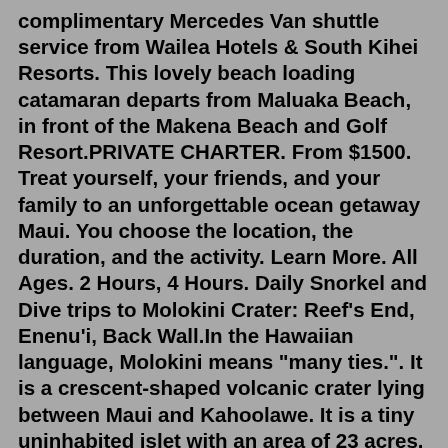complimentary Mercedes Van shuttle service from Wailea Hotels & South Kihei Resorts. This lovely beach loading catamaran departs from Maluaka Beach, in front of the Makena Beach and Golf Resort.PRIVATE CHARTER. From $1500. Treat yourself, your friends, and your family to an unforgettable ocean getaway Maui. You choose the location, the duration, and the activity. Learn More. All Ages. 2 Hours, 4 Hours. Daily Snorkel and Dive trips to Molokini Crater: Reef's End, Enenu'i, Back Wall.In the Hawaiian language, Molokini means "many ties.". It is a crescent-shaped volcanic crater lying between Maui and Kahoolawe. It is a tiny uninhabited islet with an area of 23 acres. Molokini rises from 300 feet below the ocean's surface and is a half-mile wide. Its diameter is 0.6 km.Definitely Lanai. I also was underwhelmed with Moloklini snorkeling, but Lanai is great. Cant recommend a company, since we just snorkeled off the beach at the Manele Bay resort. Reply. Aug 10th ...The Molokini Islet lies in the Alalakeiki Channel between South...